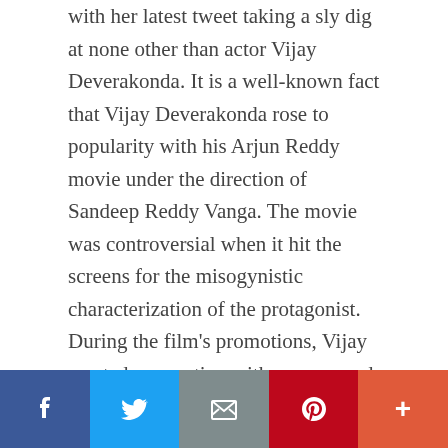with her latest tweet taking a sly dig at none other than actor Vijay Deverakonda. It is a well-known fact that Vijay Deverakonda rose to popularity with his Arjun Reddy movie under the direction of Sandeep Reddy Vanga. The movie was controversial when it hit the screens for the misogynistic characterization of the protagonist. During the film's promotions, Vijay created a sensation with a cuss word that involves mothers in general. Not only did he mouth the dialogue several times but he encouraged fans and youngsters to repeat after him. This didn't go down well with many people at that time and there was a division among the public who debated over the topic.
[Figure (other): Social media sharing bar with Facebook, Twitter, Email, Pinterest, and More buttons]